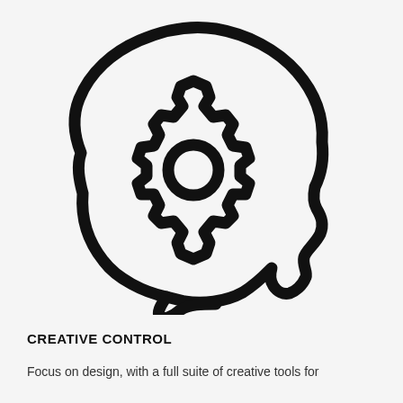[Figure (illustration): Line art icon of a human head profile (facing right) with a gear/cog wheel inside the brain area, rendered in bold black strokes on a light gray background.]
CREATIVE CONTROL
Focus on design, with a full suite of creative tools for